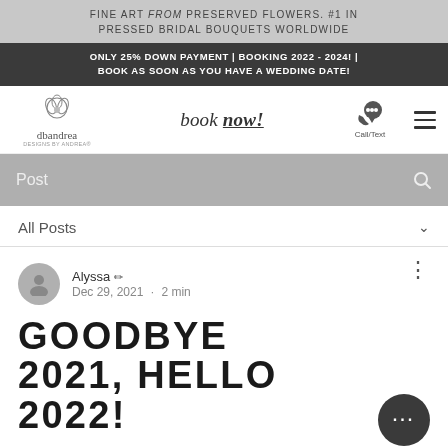FINE ART from PRESERVED FLOWERS. #1 IN PRESSED BRIDAL BOUQUETS WORLDWIDE
ONLY 25% DOWN PAYMENT | BOOKING 2022 - 2024! | BOOK AS SOON AS YOU HAVE A WEDDING DATE!
[Figure (logo): dbandrea Designs by Andrea logo with flower illustration]
book now!
[Figure (illustration): Phone call/text icon with speech bubble]
Post
All Posts
Alyssa
Dec 29, 2021 · 2 min
GOODBYE 2021, HELLO 2022!
Wow, can you believe this year is